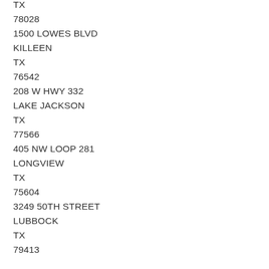TX
78028
1500 LOWES BLVD
KILLEEN
TX
76542
208 W HWY 332
LAKE JACKSON
TX
77566
405 NW LOOP 281
LONGVIEW
TX
75604
3249 50TH STREET
LUBBOCK
TX
79413